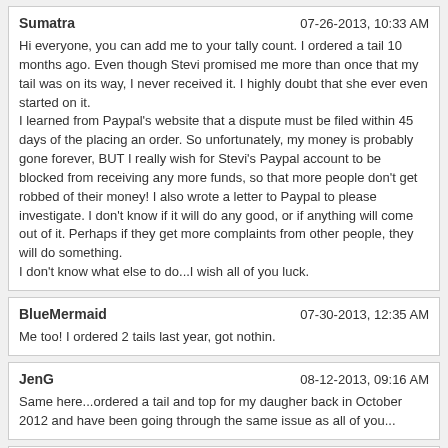Sumatra | 07-26-2013, 10:33 AM
Hi everyone, you can add me to your tally count. I ordered a tail 10 months ago. Even though Stevi promised me more than once that my tail was on its way, I never received it. I highly doubt that she ever even started on it.
I learned from Paypal's website that a dispute must be filed within 45 days of the placing an order. So unfortunately, my money is probably gone forever, BUT I really wish for Stevi's Paypal account to be blocked from receiving any more funds, so that more people don't get robbed of their money! I also wrote a letter to Paypal to please investigate. I don't know if it will do any good, or if anything will come out of it. Perhaps if they get more complaints from other people, they will do something.
I don't know what else to do...I wish all of you luck.
BlueMermaid | 07-30-2013, 12:35 AM
Me too! I ordered 2 tails last year, got nothin.
JenG | 08-12-2013, 09:16 AM
Same here...ordered a tail and top for my daugher back in October 2012 and have been going through the same issue as all of you...
AniaR | 08-12-2013, 11:19 AM
This is insane!! Adam martyn was driven into hiding for less than this! He stole money from 3 or 4 mers. Stevi should stop taking orders to pay for old orders and instead get a line of credit so she can get caught up.
Ashe | 08-12-2013, 12:41 PM
This is just crazy. I myself have never ordered a tail from her, and I don't plan